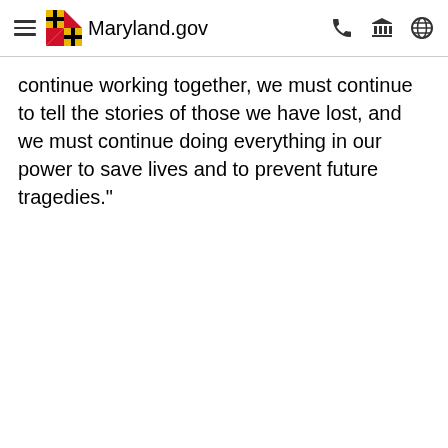Maryland.gov
continue working together, we must continue to tell the stories of those we have lost, and we must continue doing everything in our power to save lives and to prevent future tragedies."